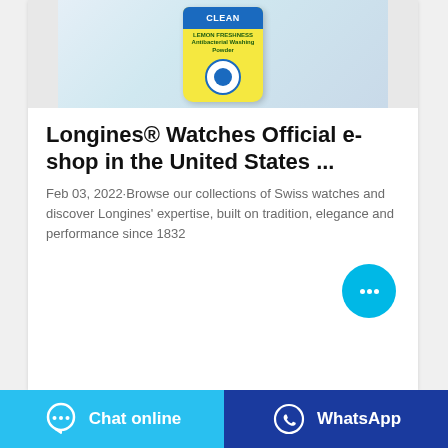[Figure (photo): Product photo of a yellow laundry powder bag labeled CLEAN with lemon freshness, antibacterial washing powder, on a wooden surface with white fabric in background]
Longines® Watches Official e-shop in the United States ...
Feb 03, 2022·Browse our collections of Swiss watches and discover Longines' expertise, built on tradition, elegance and performance since 1832
[Figure (illustration): Cyan circular chat button with three dots (ellipsis) icon, floating in lower-right area]
Chat online
WhatsApp